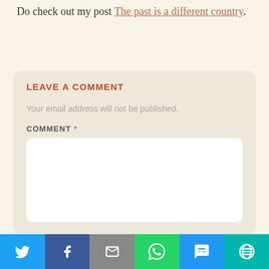Do check out my post The past is a different country.
LEAVE A COMMENT
Your email address will not be published.
COMMENT *
[Figure (infographic): Social sharing bar with Twitter, Facebook, Email, WhatsApp, SMS, and More buttons]